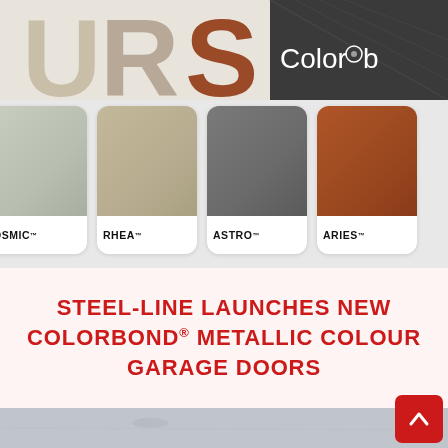[Figure (photo): Top banner showing large stylized letters 'URS' in metallic/earthy tones (beige, brown/rust) on left, and a dark charcoal panel with white 'Colorb...' logo text on right]
[Figure (photo): Row of four metallic color swatch cards labeled OSMIC, RHEA, ASTRO, and ARIES showing different metallic paint finishes — light sage, warm beige/taupe, dark charcoal grey, and burnt orange/rust]
STEEL-LINE LAUNCHES NEW COLORBOND® METALLIC COLOUR GARAGE DOORS
[Figure (photo): Bottom portion of a garage door or architectural surface in a light grey metallic finish with subtle texture visible]
[Figure (other): Red scroll-to-top button with upward chevron arrow in bottom right corner]